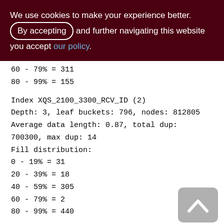We use cookies to make your experience better. By accepting and further navigating this website you accept our policy.
60 - 79% = 311
80 - 99% = 155
Index XQS_2100_3300_RCV_ID (2)
Depth: 3, leaf buckets: 796, nodes: 812805
Average data length: 0.87, total dup: 700300, max dup: 14
Fill distribution:
0 - 19% = 31
20 - 39% = 18
40 - 59% = 305
60 - 79% = 2
80 - 99% = 440